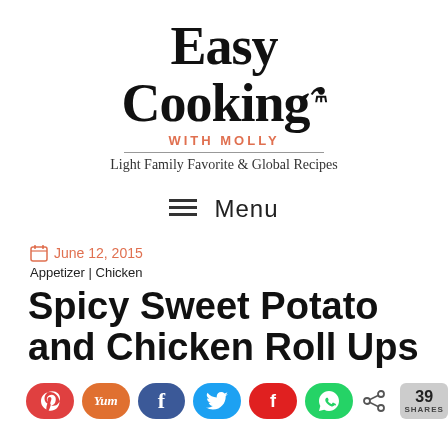[Figure (logo): Easy Cooking with Molly logo — large bold serif text 'Easy Cooking' with a small pot icon, subtitle 'WITH MOLLY' in red uppercase, horizontal rule, and tagline 'Light Family Favorite & Global Recipes']
≡  Menu
June 12, 2015
Appetizer | Chicken
Spicy Sweet Potato and Chicken Roll Ups
[Figure (infographic): Social sharing buttons row: Pinterest (red), Yummly (orange), Facebook (dark blue), Twitter (light blue), Flipboard (red), WhatsApp (green), share count badge showing 39 SHARES]